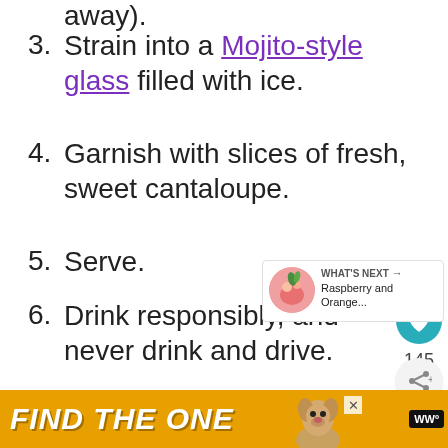away).
3. Strain into a Mojito-style glass filled with ice.
4. Garnish with slices of fresh, sweet cantaloupe.
5. Serve.
6. Drink responsibly, and never drink and drive.
[Figure (screenshot): What's Next widget showing Raspberry and Orange... recipe with a cocktail thumbnail image]
[Figure (screenshot): Advertisement banner with text FIND THE ONE and a dog image, with a close button and brand logo]